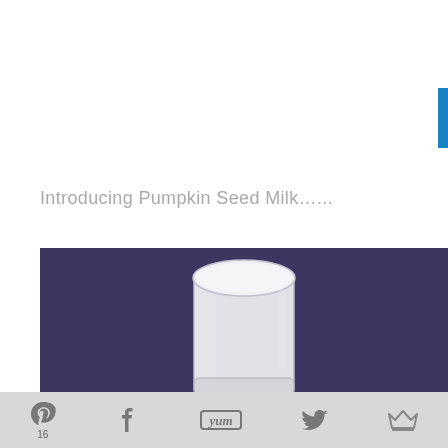Introducing Pumpkin Seed Milk…...
[Figure (photo): A glass of pumpkin seed milk against a dark purple/charcoal background. The glass is a clear tumbler filled with creamy white milk, photographed from slightly above, showing the milky surface.]
16 [Pinterest] [Facebook] [Yum] [Twitter] [Crown]